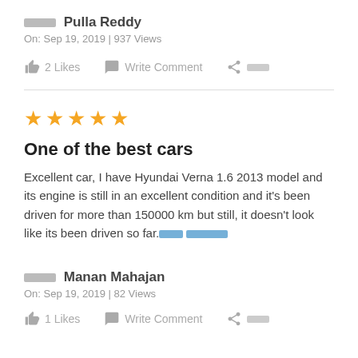██████ Pulla Reddy
On: Sep 19, 2019 | 937 Views
2 Likes   Write Comment   ████
One of the best cars
Excellent car, I have Hyundai Verna 1.6 2013 model and its engine is still in an excellent condition and it's been driven for more than 150000 km but still, it doesn't look like its been driven so far.████ ██████
██████ Manan Mahajan
On: Sep 19, 2019 | 82 Views
1 Likes   Write Comment   ████